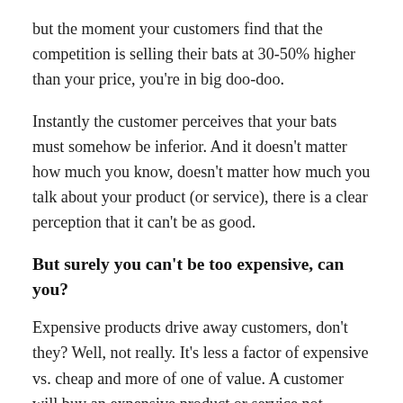but the moment your customers find that the competition is selling their bats at 30-50% higher than your price, you're in big doo-doo.
Instantly the customer perceives that your bats must somehow be inferior. And it doesn't matter how much you know, doesn't matter how much you talk about your product (or service), there is a clear perception that it can't be as good.
But surely you can't be too expensive, can you?
Expensive products drive away customers, don't they? Well, not really. It's less a factor of expensive vs. cheap and more of one of value. A customer will buy an expensive product or service not